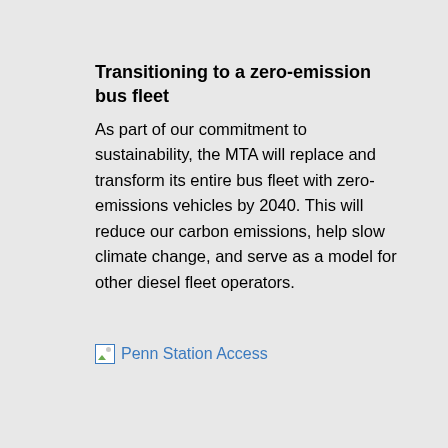Transitioning to a zero-emission bus fleet
As part of our commitment to sustainability, the MTA will replace and transform its entire bus fleet with zero-emissions vehicles by 2040. This will reduce our carbon emissions, help slow climate change, and serve as a model for other diesel fleet operators.
[Figure (other): Broken image placeholder labeled 'Penn Station Access']